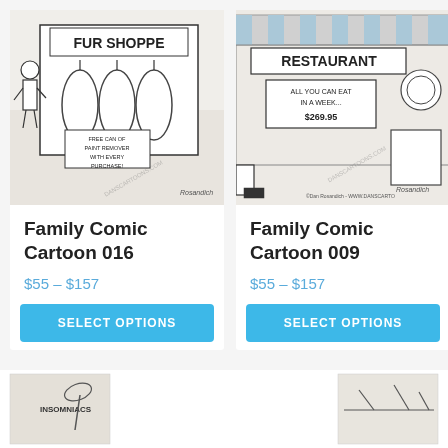[Figure (illustration): Black and white cartoon of a fur shoppe storefront with a man walking by. Sign reads 'FUR SHOPPE' and a smaller sign reads 'FREE CAN OF PAINT REMOVER WITH EVERY PURCHASE!' Watermark: DANSCARTOONS.COM]
Family Comic Cartoon 016
$55 – $157
SELECT OPTIONS
[Figure (illustration): Black and white cartoon of a restaurant exterior with a sign reading 'RESTAURANT' and a menu board saying 'ALL YOU CAN EAT IN A WEEK... $269.95'. Watermark: ©Dan Rosandich - WWW.DANSCARTO]
Family Comic Cartoon 009
$55 – $157
SELECT OPTIONS
[Figure (illustration): Partial view of two cartoon thumbnails at the bottom of the page. Left shows text 'INSOMNIACS' with a tropical/palm tree scene. Right shows a simple line drawing cartoon.]